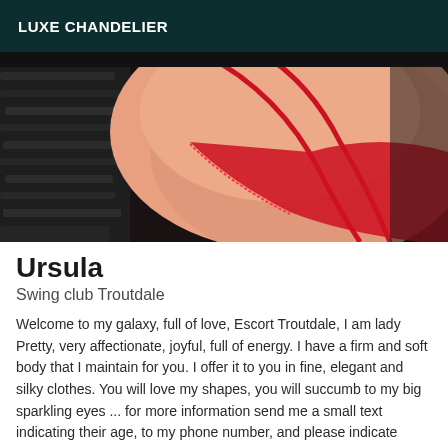LUXE CHANDELIER
[Figure (photo): Close-up photo of a person wearing red lingerie against a dark background]
Ursula
Swing club Troutdale
Welcome to my galaxy, full of love, Escort Troutdale, I am lady Pretty, very affectionate, joyful, full of energy. I have a firm and soft body that I maintain for you. I offer it to you in fine, elegant and silky clothes. You will love my shapes, you will succumb to my big sparkling eyes ... for more information send me a small text indicating their age, to my phone number, and please indicate *Viewed on escortsexe.net* I will answer as soon as possible